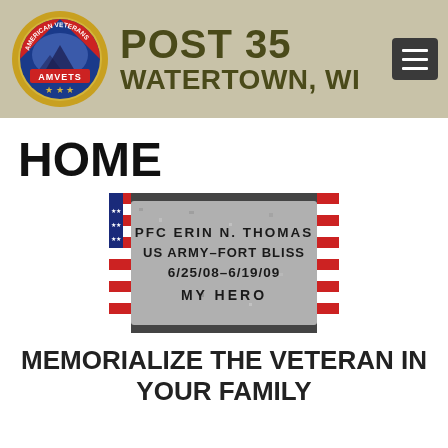POST 35 WATERTOWN, WI
HOME
[Figure (photo): A granite memorial stone engraved with text 'PFC ERIN N. THOMAS US ARMY-FORT BLISS 6/25/08-6/19/09 MY HERO', placed on an American flag background.]
MEMORIALIZE THE VETERAN IN YOUR FAMILY